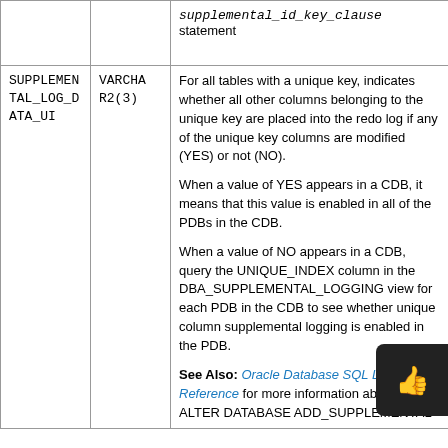| Column | Datatype | Description |
| --- | --- | --- |
|  |  | supplemental_id_key_clause statement |
| SUPPLEMENTAL_LOG_DATA_UI | VARCHAR2(3) | For all tables with a unique key, indicates whether all other columns belonging to the unique key are placed into the redo log if any of the unique key columns are modified (YES) or not (NO).

When a value of YES appears in a CDB, it means that this value is enabled in all of the PDBs in the CDB.

When a value of NO appears in a CDB, query the UNIQUE_INDEX column in the DBA_SUPPLEMENTAL_LOGGING view for each PDB in the CDB to see whether unique column supplemental logging is enabled in the PDB.

See Also: Oracle Database SQL Language Reference for more information about the ALTER DATABASE ADD_SUPPLEMENTAL... |